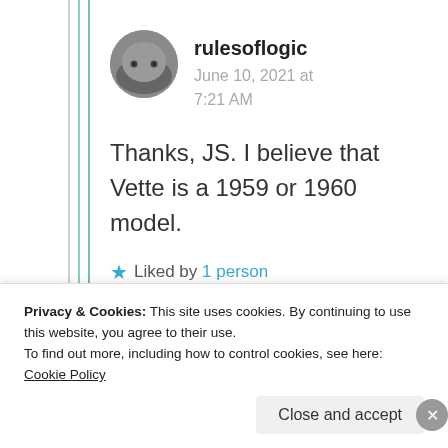rulesoflogic
June 10, 2021 at 7:21 AM
Thanks, JS. I believe that Vette is a 1959 or 1960 model.
★ Liked by 1 person
Advertisements
[Figure (other): Blue advertisement banner]
Privacy & Cookies: This site uses cookies. By continuing to use this website, you agree to their use.
To find out more, including how to control cookies, see here: Cookie Policy
Close and accept